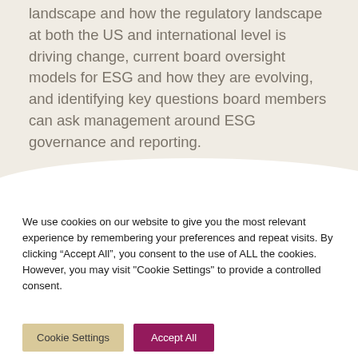landscape and how the regulatory landscape at both the US and international level is driving change, current board oversight models for ESG and how they are evolving, and identifying key questions board members can ask management around ESG governance and reporting.
We use cookies on our website to give you the most relevant experience by remembering your preferences and repeat visits. By clicking “Accept All”, you consent to the use of ALL the cookies. However, you may visit "Cookie Settings" to provide a controlled consent.